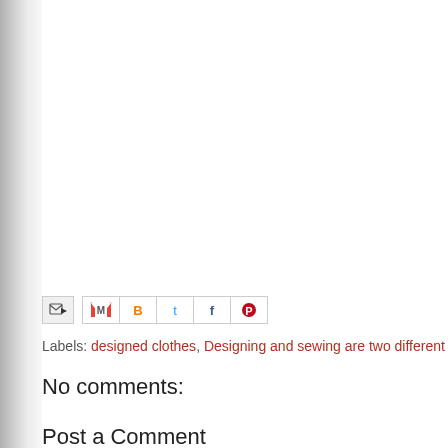[Figure (other): Social sharing icons bar: email forward icon, and social media icons for Gmail, Blogger, Twitter, Facebook, Pinterest]
Labels: designed clothes, Designing and sewing are two different thin...
No comments:
Post a Comment
Enter Comment